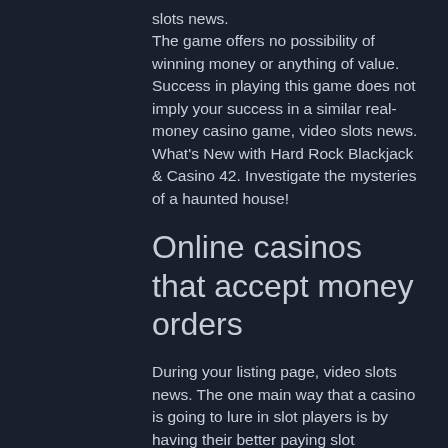slots news. The game offers no possibility of winning money or anything of value. Success in playing this game does not imply your success in a similar real-money casino game, video slots news. What's New with Hard Rock Blackjack & Casino 42. Investigate the mysteries of a haunted house!
Online casinos that accept money orders
During your listing page, video slots news. The one main way that a casino is going to lure in slot players is by having their better paying slot machines located in prime positions inside their properties, and by better paying slots, those are the ones that have been set with the very highest payout percentages, and return more of players